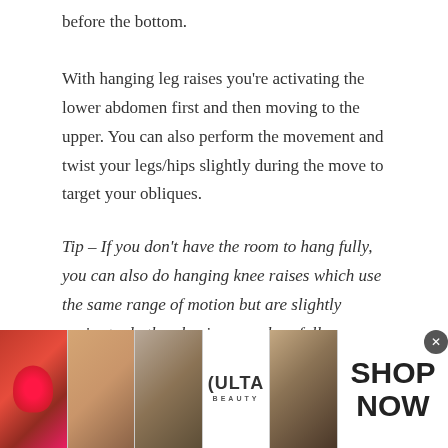before the bottom.
With hanging leg raises you're activating the lower abdomen first and then moving to the upper. You can also perform the movement and twist your legs/hips slightly during the move to target your obliques.
Tip – If you don't have the room to hang fully, you can also do hanging knee raises which use the same range of motion but are slightly easier to do than having your legs fully extended.
7) Medicine Ball Twist
[Figure (photo): Advertisement banner from ULTA beauty showing close-up beauty photos (lips with lipstick, makeup brush, eye with eyeliner, ULTA logo, eye with dramatic makeup) and a SHOP NOW call to action.]